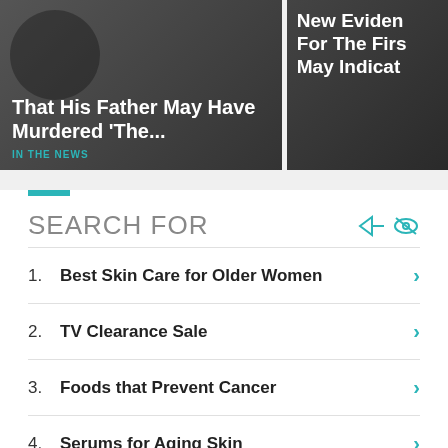[Figure (photo): Dark news card left: headline text 'That His Father May Have Murdered The...' with teal 'IN THE NEWS' label]
[Figure (photo): Dark news card right (partially visible): headline 'New Eviden For The Firs May Indicat']
SEARCH FOR
1. Best Skin Care for Older Women
2. TV Clearance Sale
3. Foods that Prevent Cancer
4. Serums for Aging Skin
5. Dresses for Older Women